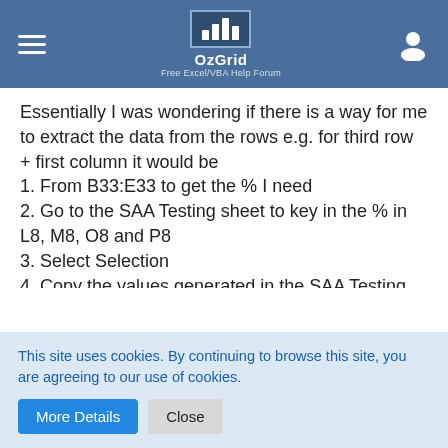OzGrid — Free Excel/VBA Help Forum
Essentially I was wondering if there is a way for me to extract the data from the rows e.g. for third row + first column it would be
1. From B33:E33 to get the % I need
2. Go to the SAA Testing sheet to key in the % in L8, M8, O8 and P8
3. Select Selection
4. Copy the values generated in the SAA Testing sheet from B3:I3
5. Paste special in the Testing sheet (which would be G33:N33)
For the second column:
6. Go back to the SAA Testing sheet and Select Selection
This site uses cookies. By continuing to browse this site, you are agreeing to our use of cookies.